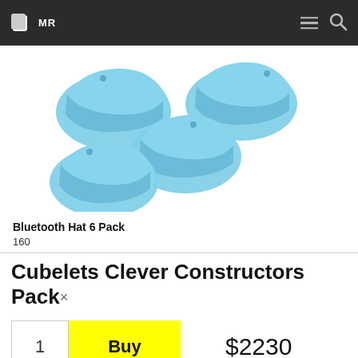MR [navigation bar with logo, hamburger menu, and search icon]
[Figure (photo): Five light blue rubber/silicone hat-shaped pieces (Bluetooth Hat 6 Pack) arranged on a white background, each with a small screw hole on top]
Bluetooth Hat 6 Pack
160
Cubelets Clever Constructors Pack×
1  Buy  $2230